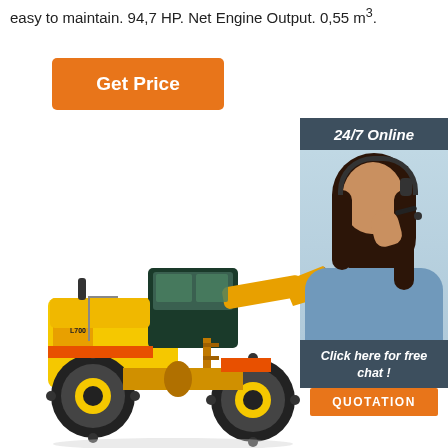easy to maintain. 94,7 HP. Net Engine Output. 0,55 m³.
[Figure (other): Orange 'Get Price' button]
[Figure (other): 24/7 Online chat widget with photo of a woman with headset, 'Click here for free chat!' text, and orange QUOTATION button]
[Figure (photo): Yellow wheel loader / front-end loader construction machine on white background]